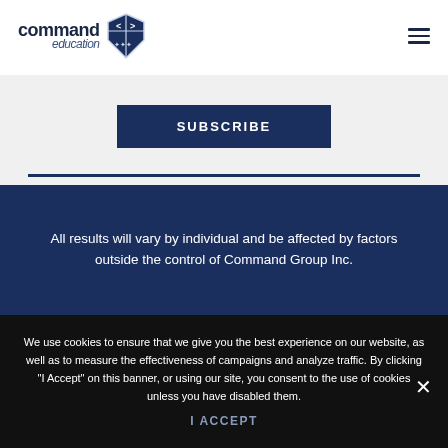command education [logo with shield]
SUBSCRIBE
All results will vary by individual and be affected by factors outside the control of Command Group Inc.
We use cookies to ensure that we give you the best experience on our website, as well as to measure the effectiveness of campaigns and analyze traffic. By clicking "I Accept" on this banner, or using our site, you consent to the use of cookies unless you have disabled them.
I ACCEPT